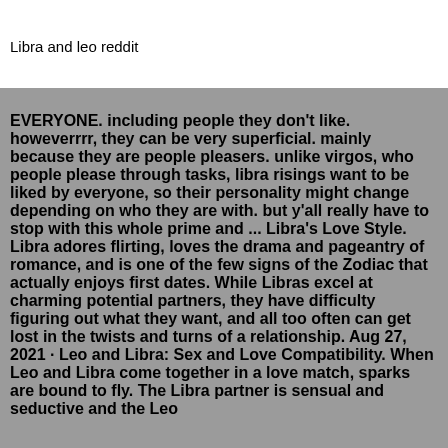Libra and leo reddit
EVERYONE. including people they don't like. howeverrrr, they can be very superficial. mainly because they are people pleasers. unlike virgos, who people please through tasks, libra risings want to be liked by everyone, so their personality might change depending on who they are with. but y'all really have to stop with this whole prime and ... Libra's Love Style. Libra adores flirting, loves the drama and pageantry of romance, and is one of the few signs of the Zodiac that actually enjoys first dates. While Libras excel at charming potential partners, they have difficulty figuring out what they want, and all too often can get lost in the twists and turns of a relationship. Aug 27, 2021 · Leo and Libra: Sex and Love Compatibility. When Leo and Libra come together in a love match, sparks are bound to fly. The Libra partner is sensual and seductive and the Leo